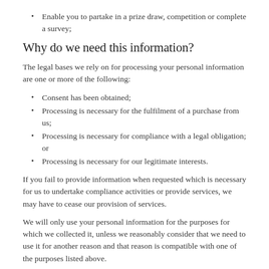Enable you to partake in a prize draw, competition or complete a survey;
Why do we need this information?
The legal bases we rely on for processing your personal information are one or more of the following:
Consent has been obtained;
Processing is necessary for the fulfilment of a purchase from us;
Processing is necessary for compliance with a legal obligation; or
Processing is necessary for our legitimate interests.
If you fail to provide information when requested which is necessary for us to undertake compliance activities or provide services, we may have to cease our provision of services.
We will only use your personal information for the purposes for which we collected it, unless we reasonably consider that we need to use it for another reason and that reason is compatible with one of the purposes listed above.